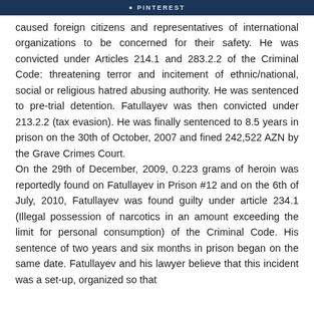PINTEREST
caused foreign citizens and representatives of international organizations to be concerned for their safety. He was convicted under Articles 214.1 and 283.2.2 of the Criminal Code: threatening terror and incitement of ethnic/national, social or religious hatred abusing authority. He was sentenced to pre-trial detention. Fatullayev was then convicted under 213.2.2 (tax evasion). He was finally sentenced to 8.5 years in prison on the 30th of October, 2007 and fined 242,522 AZN by the Grave Crimes Court. On the 29th of December, 2009, 0.223 grams of heroin was reportedly found on Fatullayev in Prison #12 and on the 6th of July, 2010, Fatullayev was found guilty under article 234.1 (Illegal possession of narcotics in an amount exceeding the limit for personal consumption) of the Criminal Code. His sentence of two years and six months in prison began on the same date. Fatullayev and his lawyer believe that this incident was a set-up, organized so that